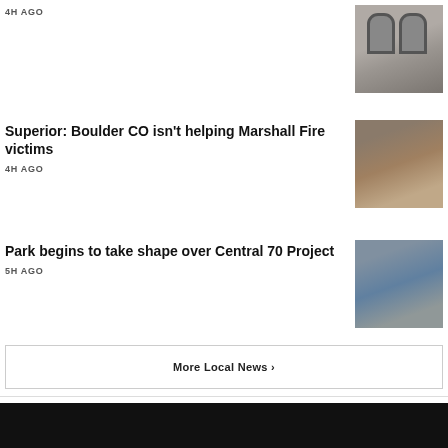4H AGO
[Figure (photo): Building with arched windows]
Superior: Boulder CO isn't helping Marshall Fire victims
4H AGO
[Figure (photo): Aerial view of fire-damaged neighborhood]
Park begins to take shape over Central 70 Project
5H AGO
[Figure (photo): Aerial view of a park structure being built]
More Local News ›